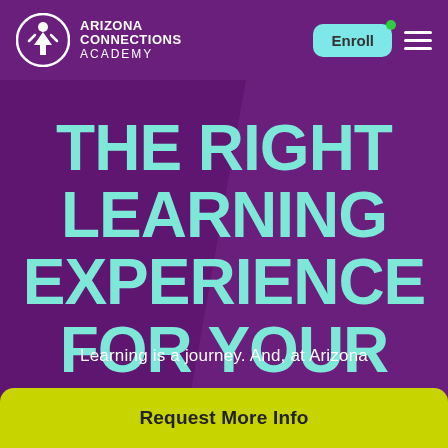[Figure (logo): Arizona Connections Academy logo — circular white icon with stylized figure, and text 'ARIZONA CONNECTIONS ACADEMY' in white on purple background]
THE RIGHT LEARNING EXPERIENCE FOR YOUR CHILD
Learning is a journey. And, at Arizona
Request More Info